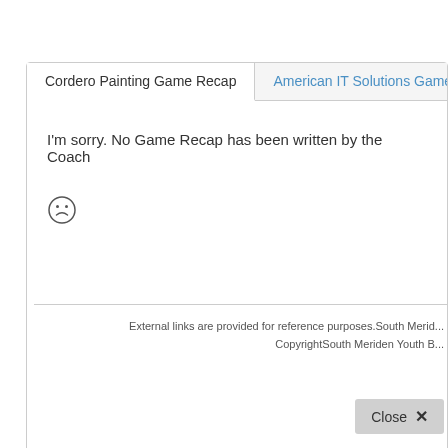Cordero Painting Game Recap
American IT Solutions Game
I'm sorry. No Game Recap has been written by the Coach
[Figure (illustration): Sad face emoticon / frowning face symbol]
External links are provided for reference purposes.South Merid... CopyrightSouth Meriden Youth B...
Close ✕